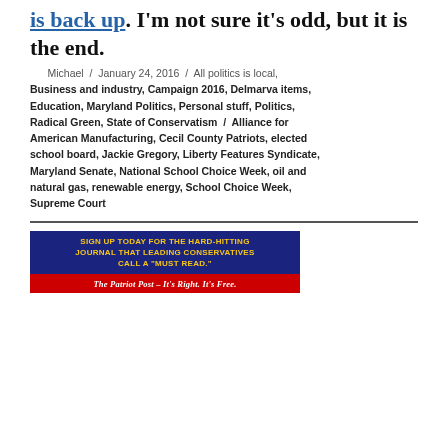is back up. I'm not sure it's odd, but it is the end.
Michael / January 24, 2016 / All politics is local, Business and industry, Campaign 2016, Delmarva items, Education, Maryland Politics, Personal stuff, Politics, Radical Green, State of Conservatism / Alliance for American Manufacturing, Cecil County Patriots, elected school board, Jackie Gregory, Liberty Features Syndicate, Maryland Senate, National School Choice Week, oil and natural gas, renewable energy, School Choice Week, Supreme Court
[Figure (illustration): Patriot Post advertisement banner. Dark navy blue top section with gold text: 'SIGN UP TODAY FOR THE HARD-HITTING JOURNAL THAT LEADING CONSERVATIVES CALL A "MUST READ."' Red bottom section with white italic text: 'The Patriot Post – It's Right. It's Free.']